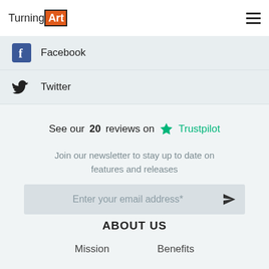TurningArt
Facebook
Twitter
See our 20 reviews on ★ Trustpilot
Join our newsletter to stay up to date on features and releases
Enter your email address*
ABOUT US
Mission
Benefits